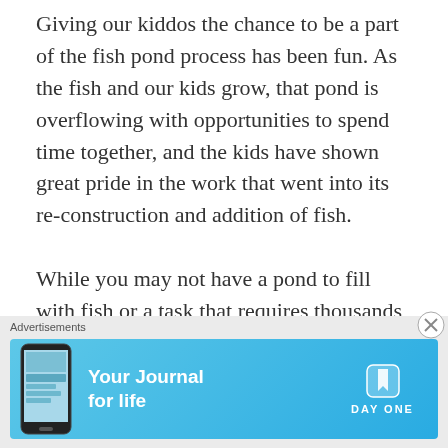Giving our kiddos the chance to be a part of the fish pond process has been fun. As the fish and our kids grow, that pond is overflowing with opportunities to spend time together, and the kids have shown great pride in the work that went into its re-construction and addition of fish.

While you may not have a pond to fill with fish or a task that requires thousands of gallons of pond water, you can always find
Advertisements
[Figure (infographic): Advertisement banner for Day One journal app. Blue gradient background with a phone image on the left, bold white text 'Your Journal for life' in the center, and the Day One logo (bookmark icon and DAYONE text) on the right.]